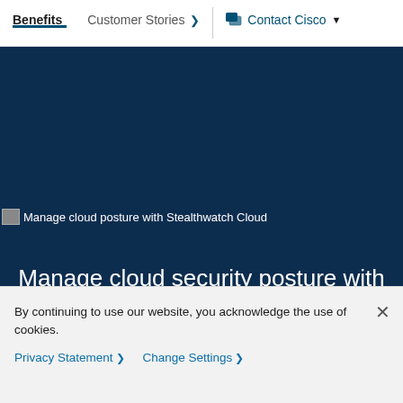Benefits | Customer Stories > | Contact Cisco v
[Figure (screenshot): Dark navy hero section with broken image placeholder for 'Manage cloud posture with Stealthwatch Cloud']
Manage cloud security posture with Secure Cloud Analytics
Check out our new cloud security posture management
By continuing to use our website, you acknowledge the use of cookies.
Privacy Statement > Change Settings >